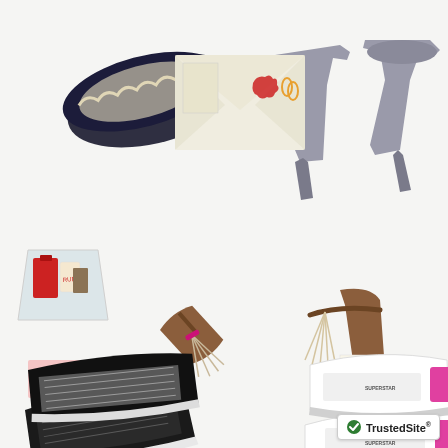[Figure (photo): Flatlay fashion photo on white background showing various women's shoes and accessories: dark navy ballet flats with scalloped edge, gray suede high heel pumps, brown leather strappy sandals with tassel detail, white and black print sneakers, white and pink Golden Goose-style sneakers, an envelope with postcard, a glass bowl with cosmetics, small notebooks, a ticket stub, a gold cylinder, a small photo print of a vintage car, a lipstick/perfume bottle, and other small accessories.]
[Figure (logo): TrustedSite badge with green checkmark and text 'TrustedSite' with registered trademark symbol]